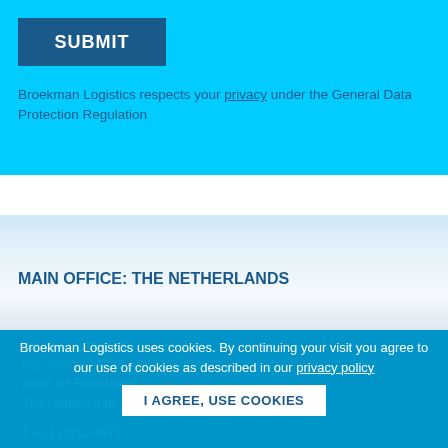SUBMIT
Broekman Logistics respects your privacy under the General Data Protection Regulation
MAIN OFFICE: THE NETHERLANDS
Steelhaven 37-2130
Port Number: 2235
3089 JH Rotterdam
The Netherlands
T +31 (0)10 4873...
Business requests
Broekman Logistics uses cookies. By continuing your visit you agree to our use of cookies as described in our privacy policy
I AGREE, USE COOKIES